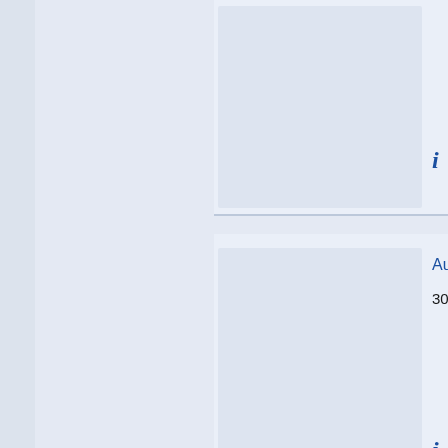[Figure (screenshot): Left navigation/filter panel with light blue-grey background]
Audi Coupé S
308 407 191
[Figure (infographic): Info icon (i) and traffic light icon showing red and green lights]
Audi 100 bis B
100 002 S